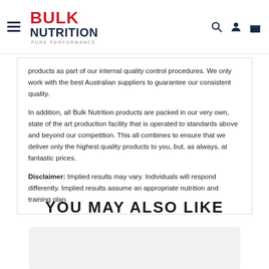Bulk Nutrition - Pure Performance
products as part of our internal quality control procedures. We only work with the best Australian suppliers to guarantee our consistent quality.
In addition, all Bulk Nutrition products are packed in our very own, state of the art production facility that is operated to standards above and beyond our competition. This all combines to ensure that we deliver only the highest quality products to you, but, as always, at fantastic prices.
Disclaimer: Implied results may vary. Individuals will respond differently. Implied results assume an appropriate nutrition and training plan.
YOU MAY ALSO LIKE
[Figure (other): Product card placeholder image area]